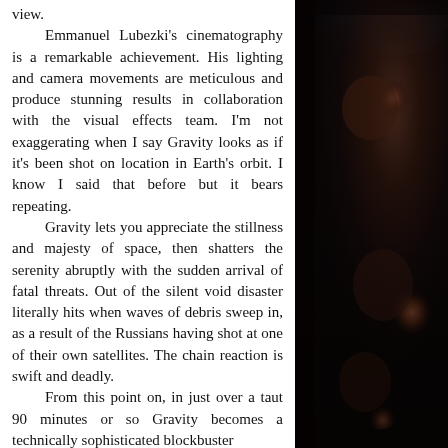view.

Emmanuel Lubezki's cinematography is a remarkable achievement. His lighting and camera movements are meticulous and produce stunning results in collaboration with the visual effects team. I'm not exaggerating when I say Gravity looks as if it's been shot on location in Earth's orbit. I know I said that before but it bears repeating.

Gravity lets you appreciate the stillness and majesty of space, then shatters the serenity abruptly with the sudden arrival of fatal threats. Out of the silent void disaster literally hits when waves of debris sweep in, as a result of the Russians having shot at one of their own satellites. The chain reaction is swift and deadly.

From this point on, in just over a taut 90 minutes or so Gravity becomes a technically sophisticated blockbuster
[Figure (photo): Dark cinema audience viewed from behind, showing silhouettes of heads and seats in a darkened theater with blue-tinted seat backs visible in upper area]